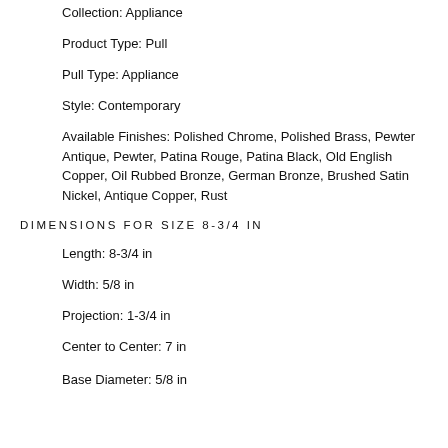Collection: Appliance
Product Type: Pull
Pull Type: Appliance
Style: Contemporary
Available Finishes: Polished Chrome, Polished Brass, Pewter Antique, Pewter, Patina Rouge, Patina Black, Old English Copper, Oil Rubbed Bronze, German Bronze, Brushed Satin Nickel, Antique Copper, Rust
DIMENSIONS FOR SIZE 8-3/4 IN
Length: 8-3/4 in
Width: 5/8 in
Projection: 1-3/4 in
Center to Center: 7 in
Base Diameter: 5/8 in